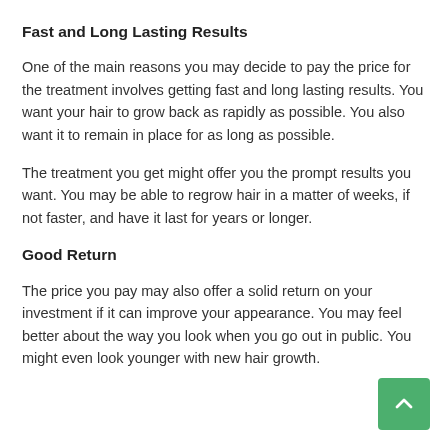Fast and Long Lasting Results
One of the main reasons you may decide to pay the price for the treatment involves getting fast and long lasting results. You want your hair to grow back as rapidly as possible. You also want it to remain in place for as long as possible.
The treatment you get might offer you the prompt results you want. You may be able to regrow hair in a matter of weeks, if not faster, and have it last for years or longer.
Good Return
The price you pay may also offer a solid return on your investment if it can improve your appearance. You may feel better about the way you look when you go out in public. You might even look younger with new hair growth.